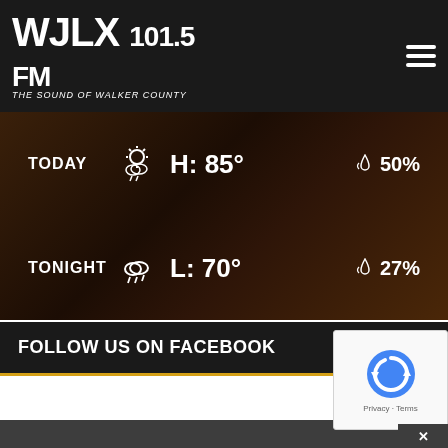[Figure (logo): WJLX 101.5 FM radio station logo — white text on dark background, subtitle 'The Sound of Walker County']
[Figure (infographic): Weather widget showing TODAY: H: 85° with sun/storm icon and 50% precipitation, TONIGHT: L: 70° with storm icon and 27% precipitation, on a dark wood-textured background]
FOLLOW US ON FACEBOOK
[Figure (other): reCAPTCHA widget showing spinning arrows icon with 'Privacy - Terms' text at bottom right of page]